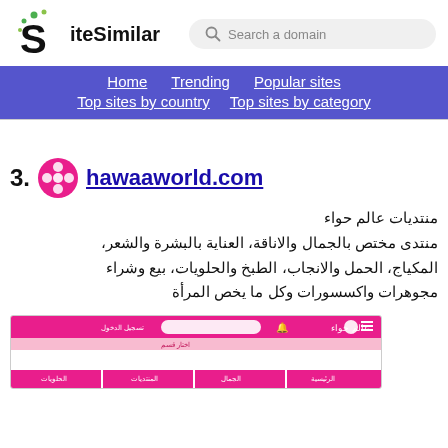SiteSimilar — Search a domain — Home | Trending | Popular sites | Top sites by country | Top sites by category
3. hawaaworld.com — منتديات عالم حواء منتدى مختص بالجمال والاناقة، العناية بالبشرة والشعر، المكياج، الحمل والانجاب، الطبخ والحلويات، بيع وشراء مجوهرات واكسسورات وكل ما يخص المرأة
[Figure (screenshot): Screenshot of hawaaworld.com website showing pink/magenta header navigation bar with Arabic text and site layout]